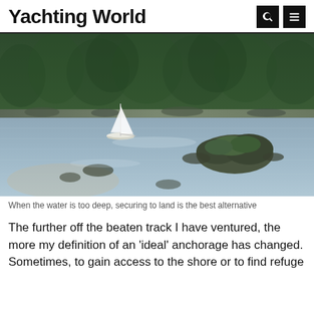Yachting World
[Figure (photo): Aerial view of a white sailboat anchored in a sheltered cove with rocky outcrops, shallow water, and dense green forest along the shoreline in the background.]
When the water is too deep, securing to land is the best alternative
The further off the beaten track I have ventured, the more my definition of an 'ideal' anchorage has changed. Sometimes, to gain access to the shore or to find refuge